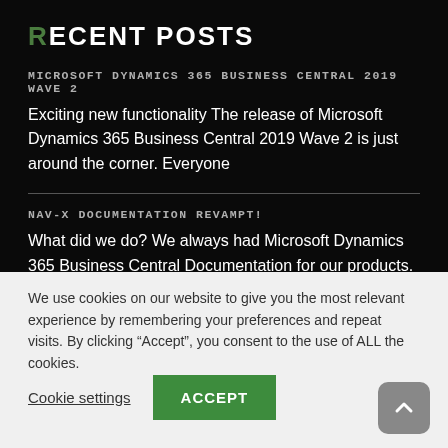RECENT POSTS
MICROSOFT DYNAMICS 365 BUSINESS CENTRAL 2019 WAVE 2
Exciting new functionality The release of Microsoft Dynamics 365 Business Central 2019 Wave 2 is just around the corner. Everyone
NAV-X DOCUMENTATION REVAMPT!
What did we do? We always had Microsoft Dynamics 365 Business Central Documentation for our products. It is a requirement
We use cookies on our website to give you the most relevant experience by remembering your preferences and repeat visits. By clicking “Accept”, you consent to the use of ALL the cookies.
Cookie settings
ACCEPT